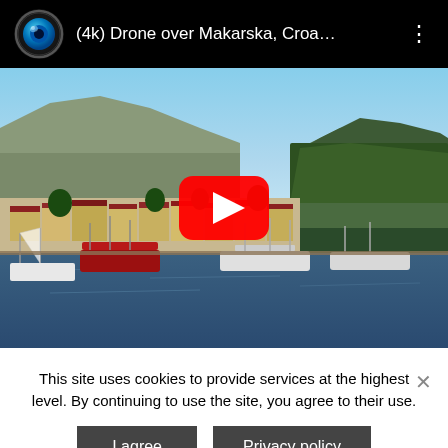[Figure (screenshot): YouTube video player header showing channel icon (blue eye logo), video title '(4k) Drone over Makarska, Croa…', and three-dot menu icon on black background]
[Figure (screenshot): YouTube video thumbnail showing aerial drone view of Makarska, Croatia with harbor, boats, buildings with red roofs, green mountains, and blue sky. Red YouTube play button overlay in center.]
This site uses cookies to provide services at the highest level. By continuing to use the site, you agree to their use.
I agree
Privacy policy